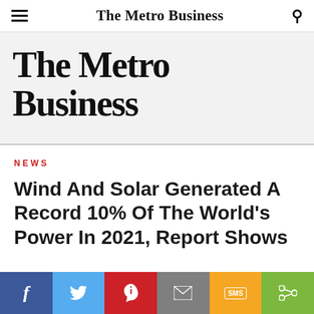The Metro Business
[Figure (logo): The Metro Business newspaper logo banner on light gray background]
NEWS
Wind And Solar Generated A Record 10% Of The World's Power In 2021, Report Shows